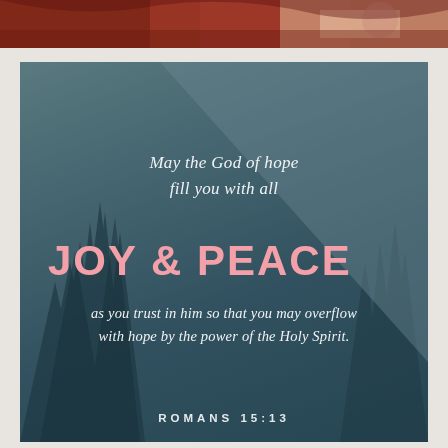[Figure (photo): Top strip showing a partial image with warm tones — red, orange, peach colors suggesting a decorative or nature photo]
[Figure (photo): Large card with forest/pine tree scene in muted teal and blue tones with a diagonal lighter overlay across the upper-right portion]
May the God of hope fill you with all
JOY & PEACE
as you trust in him so that you may overflow with hope by the power of the Holy Spirit.
ROMANS 15:13